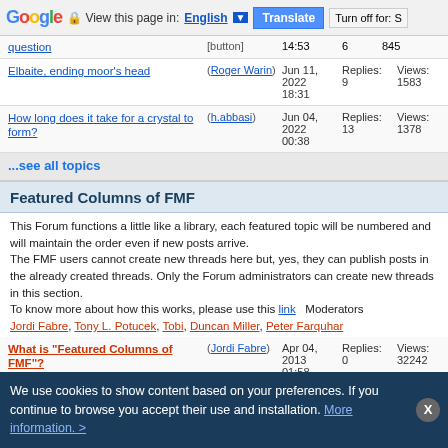Google Translate bar: View this page in: English | Translate | Turn off for: S
question | [button] | 14:53 | 6 | 845
Elbaite, ending moor's head | (Roger Warin) | Jun 11, 2022 18:31 | Replies: 9 | Views: 1583
How long does it take for a crystal to form? | (h.abbasi) | Jun 04, 2022 00:38 | Replies: 13 | Views: 1378
...see all topics
Featured Columns of FMF
This Forum functions a little like a library, each featured topic will be numbered and will maintain the order even if new posts arrive. The FMF users cannot create new threads here but, yes, they can publish posts in the already created threads. Only the Forum administrators can create new threads in this section. To know more about how this works, please use this link   Moderators Jordi Fabre, Tony L. Potucek, Tobi, Duncan Miller, Peter Farquhar
What is "Featured Columns of FMF"? | (Jordi Fabre) | Apr 04, 2013 01:58 | Replies: 0 | Views: 32242
Formicaite. Beta-formicaite & alpha-Ca-formate. Mineral or not? - (39) | (FMF Forum) | Mar 24, 2022 06:15 | Replies: 8 | Views: 2009
We use cookies to show content based on your preferences. If you continue to browse you accept their use and installation. More information. >